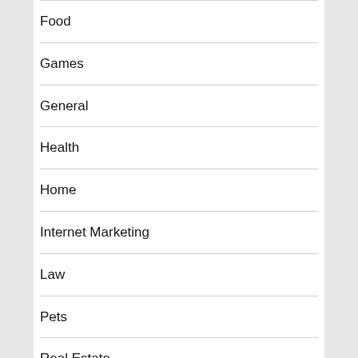Food
Games
General
Health
Home
Internet Marketing
Law
Pets
Real Estate
SEO